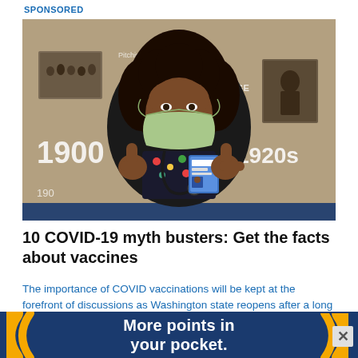SPONSORED
[Figure (photo): A Black female healthcare worker wearing a green face mask and colorful floral scrubs, giving two thumbs up. She stands in front of a historical photo mural showing dates 1900s and 1920s. She wears a stethoscope and a hospital ID badge.]
10 COVID-19 myth busters: Get the facts about vaccines
The importance of COVID vaccinations will be kept at the forefront of discussions as Washington state reopens after a long and challenging time.
[Figure (infographic): Dark blue advertisement banner reading 'More points in your pocket.' with orange decorative circular arc shapes on the left and right sides.]